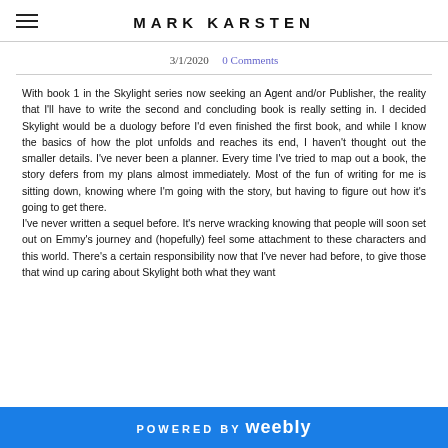MARK KARSTEN
3/1/2020   0Comments
With book 1 in the Skylight series now seeking an Agent and/or Publisher, the reality that I'll have to write the second and concluding book is really setting in. I decided Skylight would be a duology before I'd even finished the first book, and while I know the basics of how the plot unfolds and reaches its end, I haven't thought out the smaller details. I've never been a planner. Every time I've tried to map out a book, the story defers from my plans almost immediately. Most of the fun of writing for me is sitting down, knowing where I'm going with the story, but having to figure out how it's going to get there.
I've never written a sequel before. It's nerve wracking knowing that people will soon set out on Emmy's journey and (hopefully) feel some attachment to these characters and this world. There's a certain responsibility now that I've never had before, to give those that wind up caring about Skylight both what they want
POWERED BY weebly